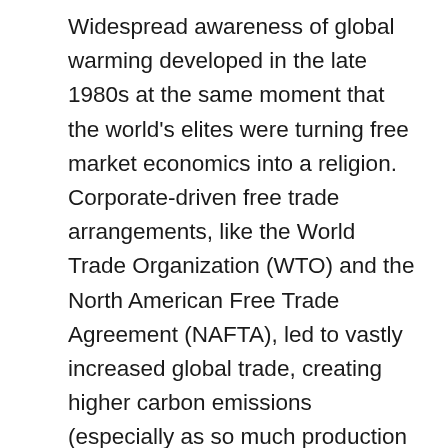Widespread awareness of global warming developed in the late 1980s at the same moment that the world's elites were turning free market economics into a religion. Corporate-driven free trade arrangements, like the World Trade Organization (WTO) and the North American Free Trade Agreement (NAFTA), led to vastly increased global trade, creating higher carbon emissions (especially as so much production moved to coal-fired China). This era's laissez-faire ideology simultaneously undercut the collective responses needed to address climate change, as government and regulation became dirty words; and, as Klein documents in her book,